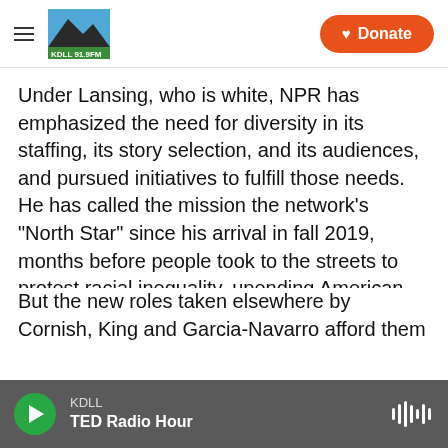KDLL logo — Donate button
Under Lansing, who is white, NPR has emphasized the need for diversity in its staffing, its story selection, and its audiences, and pursued initiatives to fulfill those needs. He has called the mission the network's "North Star" since his arrival in fall 2019, months before people took to the streets to protest racial inequality, upending American corporate life. He has pitched it both as a moral imperative and fundamental to the network's continued survival in weekly all-staff meetings.
But the new roles taken elsewhere by Cornish, King and Garcia-Navarro afford them greater individual
KDLL — TED Radio Hour